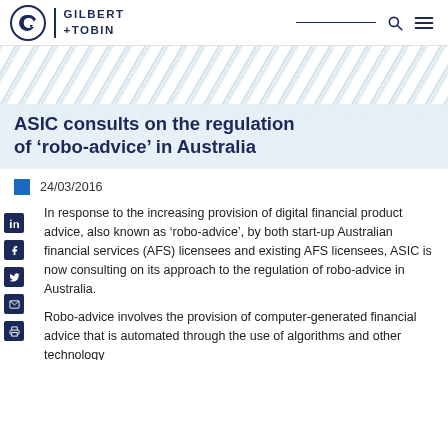[Figure (logo): Gilbert + Tobin law firm logo with stylized G icon and navigation bar]
[Figure (photo): Hero banner with leafy/nature background and article title overlay]
ASIC consults on the regulation of ‘robo-advice’ in Australia
24/03/2016
In response to the increasing provision of digital financial product advice, also known as ‘robo-advice’, by both start-up Australian financial services (AFS) licensees and existing AFS licensees, ASIC is now consulting on its approach to the regulation of robo-advice in Australia.
Robo-advice involves the provision of computer-generated financial advice that is automated through the use of algorithms and other technology